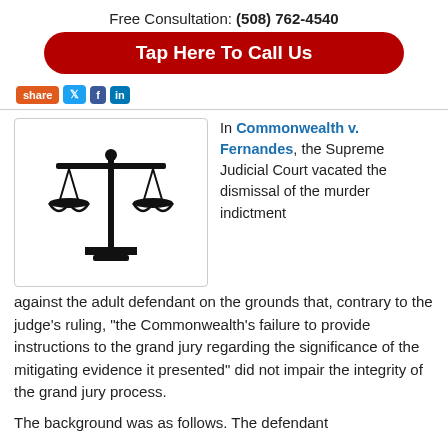Free Consultation: (508) 762-4540
Tap Here To Call Us
[Figure (illustration): Social media share buttons: Share (orange), Twitter (blue bird), Facebook (blue f), LinkedIn (blue in)]
[Figure (illustration): Black scales of justice icon on white background with border]
In Commonwealth v. Fernandes, the Supreme Judicial Court vacated the dismissal of the murder indictment against the adult defendant on the grounds that, contrary to the judge’s ruling, “the Commonwealth’s failure to provide instructions to the grand jury regarding the significance of the mitigating evidence it presented” did not impair the integrity of the grand jury process.
The background was as follows. The defendant